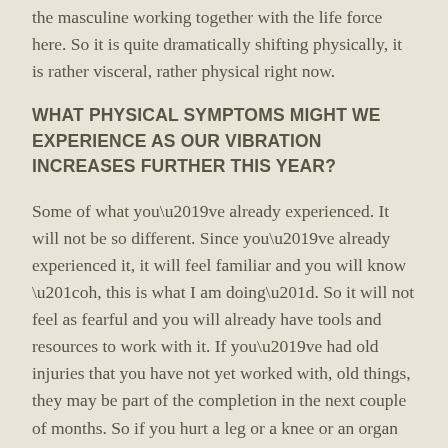the masculine working together with the life force here. So it is quite dramatically shifting physically, it is rather visceral, rather physical right now.
WHAT PHYSICAL SYMPTOMS MIGHT WE EXPERIENCE AS OUR VIBRATION INCREASES FURTHER THIS YEAR?
Some of what you’ve already experienced. It will not be so different. Since you’ve already experienced it, it will feel familiar and you will know “oh, this is what I am doing”. So it will not feel as fearful and you will already have tools and resources to work with it. If you’ve had old injuries that you have not yet worked with, old things, they may be part of the completion in the next couple of months. So if you hurt a leg or a knee or an organ earlier in life and then you begin to have some discomfort in those areas, realize that it is the healing of that so that there is no memory brought forward into the next level, because the frequency of the memory is lower.